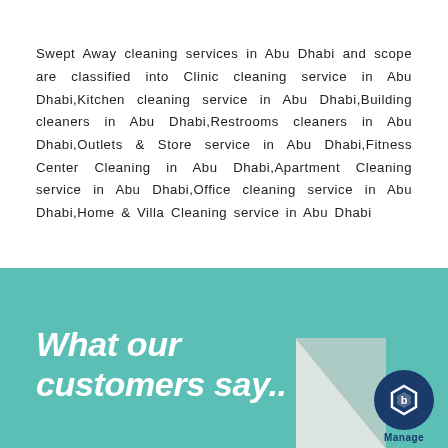Swept Away cleaning services in Abu Dhabi and scope are classified into Clinic cleaning service in Abu Dhabi,Kitchen cleaning service in Abu Dhabi,Building cleaners in Abu Dhabi,Restrooms cleaners in Abu Dhabi,Outlets & Store service in Abu Dhabi,Fitness Center Cleaning in Abu Dhabi,Apartment Cleaning service in Abu Dhabi,Office cleaning service in Abu Dhabi,Home & Villa Cleaning service in Abu Dhabi
[Figure (infographic): Teal/turquoise banner with bold italic white text reading 'What our customers say...' with a page curl graphic in the bottom right and a circular navy blue logo with hexagon icon and 'Manage' text below]